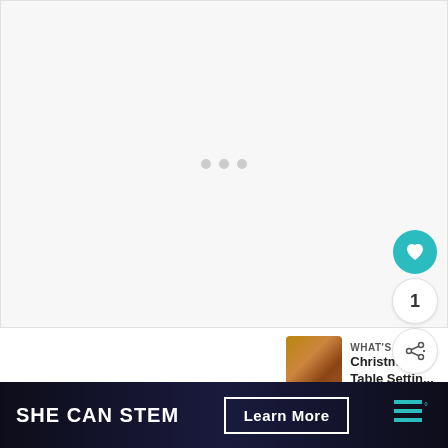[Figure (other): Large empty/loading image area with three gray dots in center (loading indicator)]
[Figure (other): Heart/like button (teal circle), count '1', and share button stacked vertically on right side]
[Figure (other): Thumbnail image of Christmas table setting (brown/gold tones)]
WHAT'S NEXT → Christmas Table Settin...
I will not be posting much until the New Year. I wa
[Figure (other): Dark banner advertisement: SHE CAN STEM | Learn More | logo with bars and superscript dot]